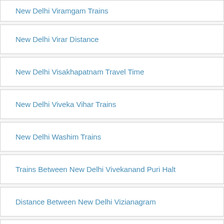New Delhi Viramgam Trains
New Delhi Virar Distance
New Delhi Visakhapatnam Travel Time
New Delhi Viveka Vihar Trains
New Delhi Washim Trains
Trains Between New Delhi Vivekanand Puri Halt
Distance Between New Delhi Vizianagram
Rail Travel New Delhi Vrindaban Road
Trains Between New Delhi Wadi
Trains Between New Delhi Wena